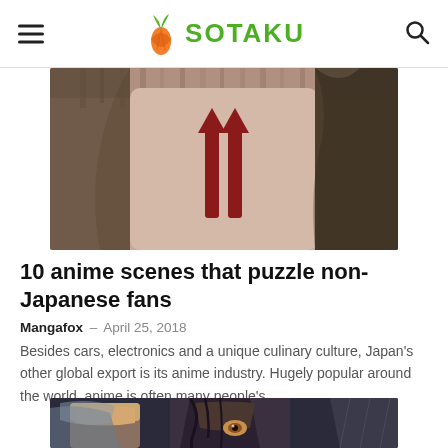SOTAKU
[Figure (illustration): Cropped anime character illustration showing the lower face/chin with two red arrow-like decorative elements pointing upward, set against a peach/skin-toned background with dark hair visible at the edges]
10 anime scenes that puzzle non-Japanese fans
Mangafox – April 25, 2018
Besides cars, electronics and a unique culinary culture, Japan's other global export is its anime industry. Hugely popular around the world, anime is often many people's…
[Figure (illustration): Cropped anime scene showing two characters, one with dark hair and an intense expression, rendered in typical anime art style with dark tones]